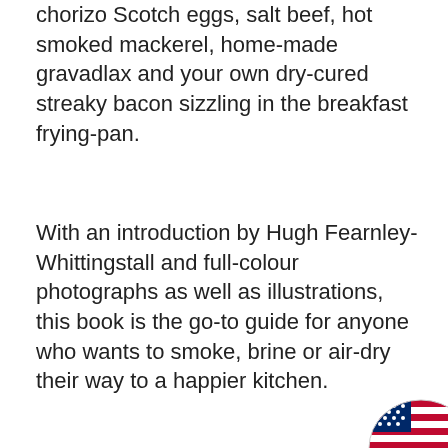chorizo Scotch eggs, salt beef, hot smoked mackerel, home-made gravadlax and your own dry-cured streaky bacon sizzling in the breakfast frying-pan.
With an introduction by Hugh Fearnley-Whittingstall and full-colour photographs as well as illustrations, this book is the go-to guide for anyone who wants to smoke, brine or air-dry their way to a happier kitchen.
[Figure (illustration): Partial view of a US flag badge/icon in the bottom-right corner, showing stars and stripes design.]